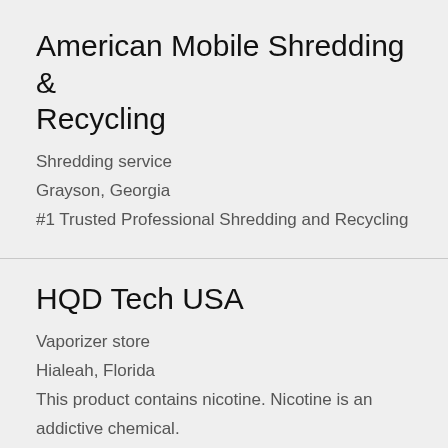American Mobile Shredding & Recycling
Shredding service
Grayson, Georgia
#1 Trusted Professional Shredding and Recycling
HQD Tech USA
Vaporizer store
Hialeah, Florida
This product contains nicotine. Nicotine is an addictive chemical.